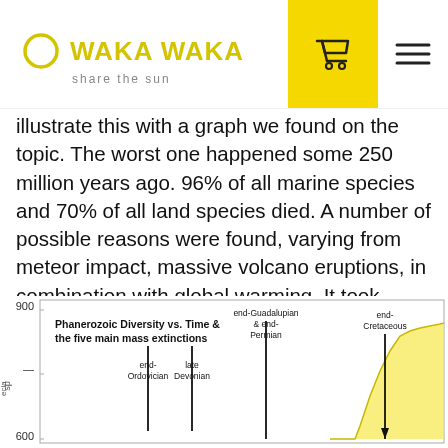WAKA WAKA share the sun
illustrate this with a graph we found on the topic. The worst one happened some 250 million years ago. 96% of all marine species and 70% of all land species died. A number of possible reasons were found, varying from meteor impact, massive volcano eruptions, in combination with global warming. It took millions of years for life on earth to recover.
[Figure (continuous-plot): Phanerozoic Diversity vs. Time & the five main mass extinctions chart showing a line/area plot of species diversity over geological time, with labeled mass extinction events: end-Ordovician, late Devonian, end-Guadalupian & end-Permian, end-Cretaceous. Y-axis shows values from 600 to 900. The area under the curve is yellow/light yellow.]